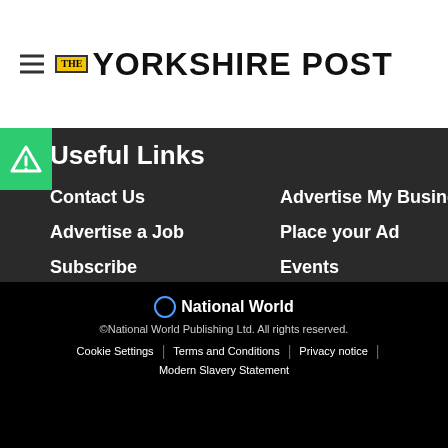[Figure (logo): The Yorkshire Post newspaper logo with hamburger menu icon on left]
Useful Links
Contact Us
Advertise My Business
Advertise a Job
Place your Ad
Subscribe
Events
Newsletter
Archive
Readers Charter
[Figure (logo): National World logo with circle icon]
©National World Publishing Ltd. All rights reserved.
Cookie Settings | Terms and Conditions | Privacy notice | Modern Slavery Statement